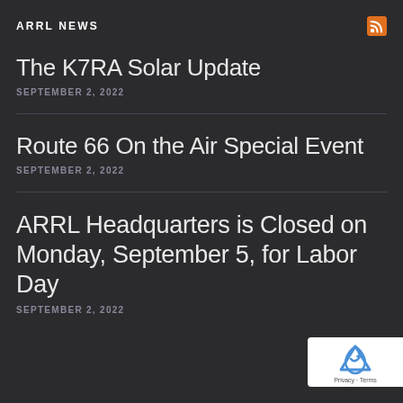ARRL NEWS
The K7RA Solar Update
SEPTEMBER 2, 2022
Route 66 On the Air Special Event
SEPTEMBER 2, 2022
ARRL Headquarters is Closed on Monday, September 5, for Labor Day
SEPTEMBER 2, 2022